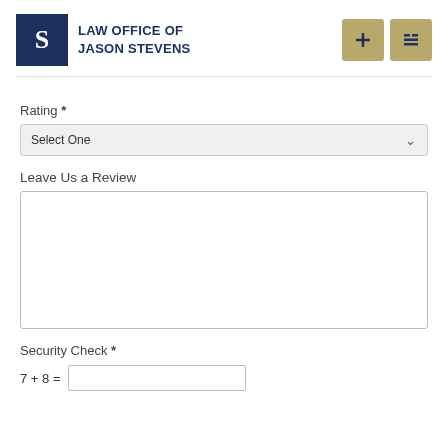[Figure (logo): Law Office of Jason Stevens logo with dark navy 'S' monogram and firm name text]
Rating *
Select One
Leave Us a Review
Security Check *